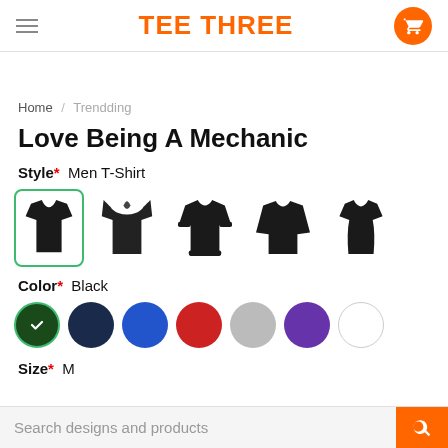TEE THREE
Home / Trendding
Love Being A Mechanic
Style* Men T-Shirt
[Figure (other): Five clothing style icons: t-shirt (selected with green border), hoodie, crewneck sweatshirt, long sleeve shirt, women's t-shirt — all in black]
Color* Black
[Figure (other): Seven color circle swatches: dark green/black (selected with checkmark), navy, blue, red, grey, purple, white]
Size* M
Search designs and products